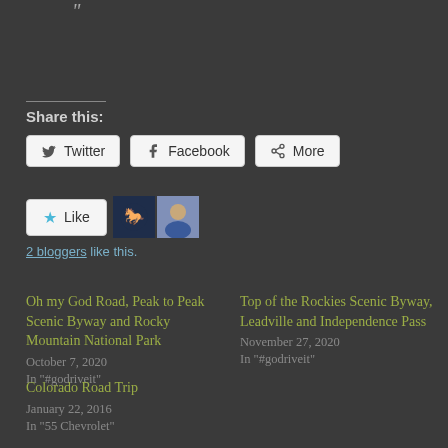"
Share this:
Twitter  Facebook  More
Like
2 bloggers like this.
Oh my God Road, Peak to Peak Scenic Byway and Rocky Mountain National Park
October 7, 2020
In "#godriveit"
Top of the Rockies Scenic Byway, Leadville and Independence Pass
November 27, 2020
In "#godriveit"
Colorado Road Trip
January 22, 2016
In "55 Chevrolet"